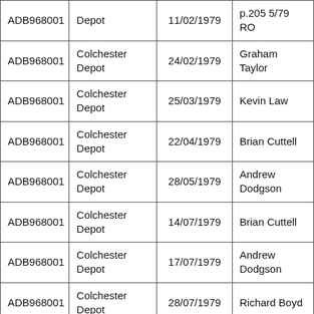| ADB968001 | Depot | 11/02/1979 | p.205 5/79 RO |
| ADB968001 | Colchester Depot | 24/02/1979 | Graham Taylor |
| ADB968001 | Colchester Depot | 25/03/1979 | Kevin Law |
| ADB968001 | Colchester Depot | 22/04/1979 | Brian Cuttell |
| ADB968001 | Colchester Depot | 28/05/1979 | Andrew Dodgson |
| ADB968001 | Colchester Depot | 14/07/1979 | Brian Cuttell |
| ADB968001 | Colchester Depot | 17/07/1979 | Andrew Dodgson |
| ADB968001 | Colchester Depot | 28/07/1979 | Richard Boyd |
| ADB968001 | Colchester | 14/08/1979 | Alan Lodwick |